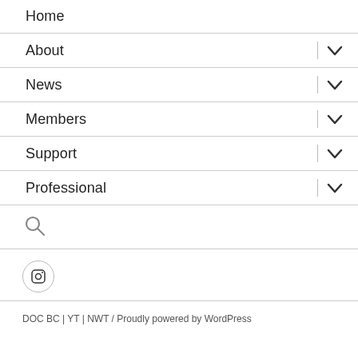Home
About
News
Members
Support
Professional
[Figure (other): Search icon (magnifying glass)]
[Figure (other): Instagram social media button in a circle]
DOC BC | YT | NWT / Proudly powered by WordPress